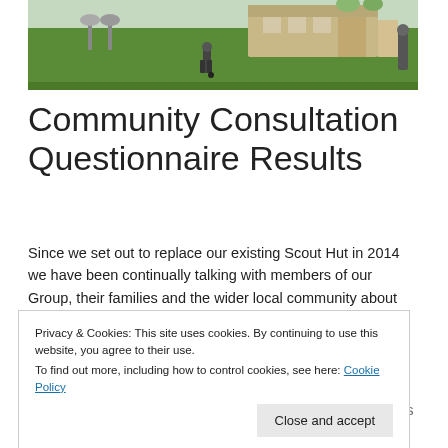[Figure (photo): Outdoor scene showing a community area with grass, a building in the background, bikes, and a person playing football/soccer]
Community Consultation Questionnaire Results
Since we set out to replace our existing Scout Hut in 2014 we have been continually talking with members of our Group, their families and the wider local community about
Privacy & Cookies: This site uses cookies. By continuing to use this website, you agree to their use.
To find out more, including how to control cookies, see here: Cookie Policy
Sending out Group Newsletters to individuals the Group has had dealings with over the years explaining our vision and update on fundraising